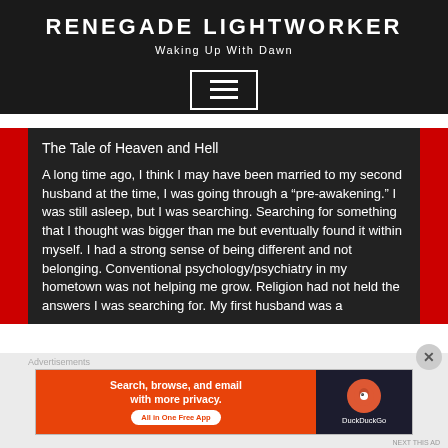RENEGADE LIGHTWORKER
Waking Up With Dawn
[Figure (other): Hamburger menu icon button with three horizontal lines in a white rectangle border]
The Tale of Heaven and Hell
A long time ago, I think I may have been married to my second husband at the time, I was going through a “pre-awakening.” I was still asleep, but I was searching. Searching for something that I thought was bigger than me but eventually found it within myself. I had a strong sense of being different and not belonging. Conventional psychology/psychiatry in my hometown was not helping me grow. Religion had not held the answers I was searching for. My first husband was a
Advertisements
[Figure (screenshot): DuckDuckGo advertisement banner: orange left section reads 'Search, browse, and email with more privacy. All in One Free App' with white pill button; dark right section shows DuckDuckGo logo circle and text]